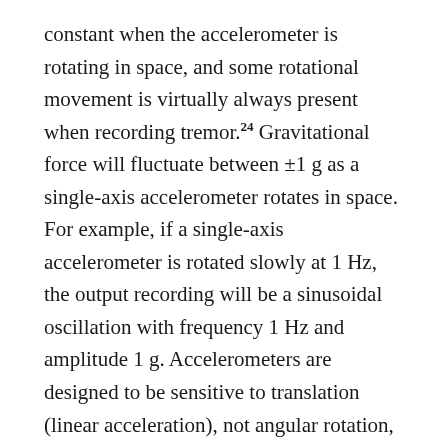constant when the accelerometer is rotating in space, and some rotational movement is virtually always present when recording tremor.24 Gravitational force will fluctuate between ±1 g as a single-axis accelerometer rotates in space. For example, if a single-axis accelerometer is rotated slowly at 1 Hz, the output recording will be a sinusoidal oscillation with frequency 1 Hz and amplitude 1 g. Accelerometers are designed to be sensitive to translation (linear acceleration), not angular rotation, so if an accelerometer is mounted precisely at the axis of rotation, its output will be entirely gravitational artifact. This gravitational artifact cannot be removed by high-pass filtering because it will be present at all frequencies of motion. Theoretically, multiple